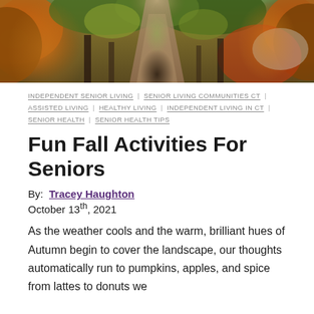[Figure (photo): Autumn forest path with vibrant orange, red, and green foliage forming a canopy tunnel over a dirt road.]
INDEPENDENT SENIOR LIVING | SENIOR LIVING COMMUNITIES CT | ASSISTED LIVING | HEALTHY LIVING | INDEPENDENT LIVING IN CT | SENIOR HEALTH | SENIOR HEALTH TIPS
Fun Fall Activities For Seniors
By: Tracey Haughton
October 13th, 2021
As the weather cools and the warm, brilliant hues of Autumn begin to cover the landscape, our thoughts automatically run to pumpkins, apples, and spice from lattes to donuts we